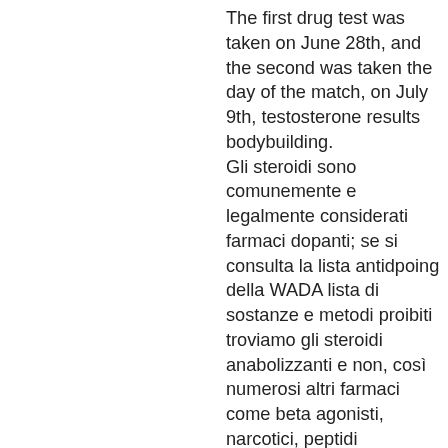The first drug test was taken on June 28th, and the second was taken the day of the match, on July 9th, testosterone results bodybuilding. Gli steroidi sono comunemente e legalmente considerati farmaci dopanti; se si consulta la lista antidpoing della WADA lista di sostanze e metodi proibiti troviamo gli steroidi anabolizzanti e non, così numerosi altri farmaci come beta agonisti, narcotici, peptidi sintetici/umani, ormoni umani/ricombinanti, THC, oppiacei/oppioidi, diuretici, anfetamine, autotrasfusioni di sangue etc, testosterone results bodybuilding. Dragon Pharma US DOM up to 20 days, testosterone booster n2 natural. These steroid supplement products could increase testosterone levels in. (reuters health) - artificially raising women's testosterone levels may result in improved physical performance, boosting